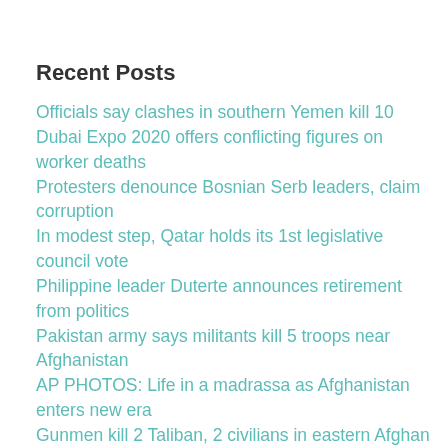Recent Posts
Officials say clashes in southern Yemen kill 10
Dubai Expo 2020 offers conflicting figures on worker deaths
Protesters denounce Bosnian Serb leaders, claim corruption
In modest step, Qatar holds its 1st legislative council vote
Philippine leader Duterte announces retirement from politics
Pakistan army says militants kill 5 troops near Afghanistan
AP PHOTOS: Life in a madrassa as Afghanistan enters new era
Gunmen kill 2 Taliban, 2 civilians in eastern Afghan city
Indigenous leader to France's Macron: Save the Amazon
UK extends truck driver visa program as fuel crisis persists
US private equity firm wins auction for Britain's Morrisons
US envoy says climate summit can yield 'enormous progress'
Ethiopia's Oromo protest, demand freedom for jailed leaders
Prominent Pakistani comedian dies on way to US for treatment
NATO troops patrol Kosovo-Serbia border after truck blockade
Libya's migrant roundup reaches 4,000 amid major crackdown
Car falls into river amid heavy rains in Pakistan killing 7
German Greens leadership steel party for government
AP PHOTOS: In Kenya, ex-accountant now protects sea turtles